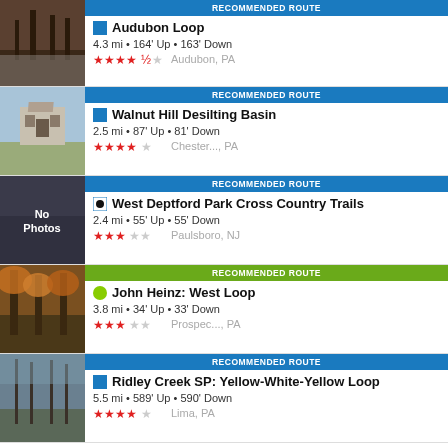RECOMMENDED ROUTE | Audubon Loop | 4.3 mi • 164' Up • 163' Down | ★★★★½ Audubon, PA
RECOMMENDED ROUTE | Walnut Hill Desilting Basin | 2.5 mi • 87' Up • 81' Down | ★★★★☆ Chester..., PA
RECOMMENDED ROUTE | West Deptford Park Cross Country Trails | 2.4 mi • 55' Up • 55' Down | ★★★☆☆ Paulsboro, NJ
RECOMMENDED ROUTE | John Heinz: West Loop | 3.8 mi • 34' Up • 33' Down | ★★★☆☆ Prospec..., PA
RECOMMENDED ROUTE | Ridley Creek SP: Yellow-White-Yellow Loop | 5.5 mi • 589' Up • 590' Down | ★★★★☆ Lima, PA